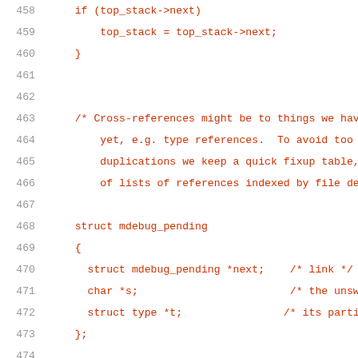[Figure (screenshot): Source code listing showing C code with line numbers 458-479. Lines 458-460 show an if block with top_stack pointer manipulation. Lines 463-466 are a comment about cross-references and fixup tables. Lines 468-473 define struct mdebug_pending with fields next, s, and t. Lines 474-479 contain another comment about pending information.]